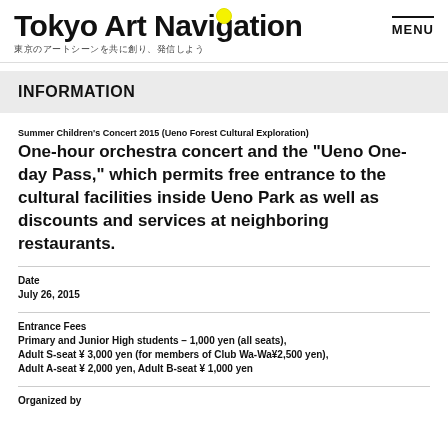Tokyo Art Navigation — 東京のアートシーンを共に創り、発信しよう
INFORMATION
Summer Children's Concert 2015 (Ueno Forest Cultural Exploration)
One-hour orchestra concert and the "Ueno One-day Pass," which permits free entrance to the cultural facilities inside Ueno Park as well as discounts and services at neighboring restaurants.
Date
July 26, 2015
Entrance Fees
Primary and Junior High students – 1,000 yen (all seats), Adult S-seat ¥ 3,000 yen (for members of Club Wa-Wa¥2,500 yen), Adult A-seat ¥ 2,000 yen, Adult B-seat ¥ 1,000 yen
Organized by